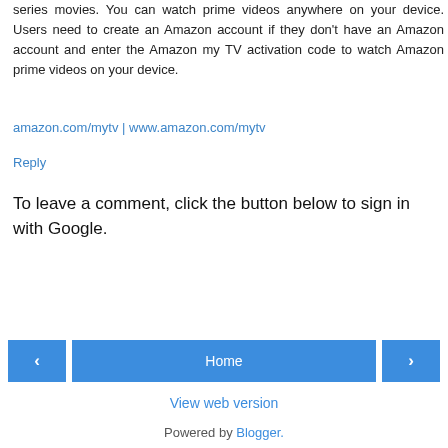series movies. You can watch prime videos anywhere on your device. Users need to create an Amazon account if they don't have an Amazon account and enter the Amazon my TV activation code to watch Amazon prime videos on your device.
amazon.com/mytv | www.amazon.com/mytv
Reply
To leave a comment, click the button below to sign in with Google.
[Figure (other): SIGN IN WITH GOOGLE button (blue)]
[Figure (other): Navigation bar with left arrow, Home button, and right arrow]
View web version
Powered by Blogger.